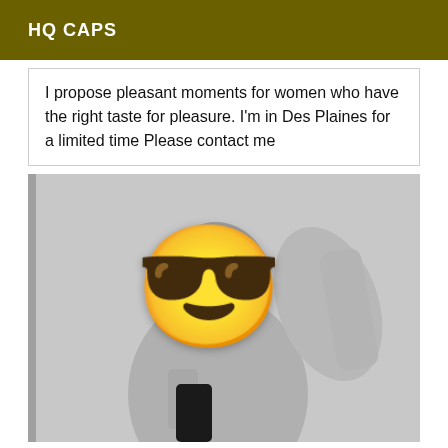HQ CAPS
I propose pleasant moments for women who have the right taste for pleasure. I'm in Des Plaines for a limited time Please contact me
[Figure (photo): Black and white bathroom mirror selfie of a person with a smiling sunglasses emoji overlaid on their face, holding a black smartphone.]